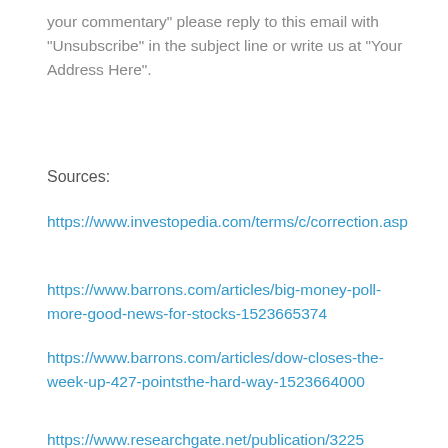your commentary” please reply to this email with “Unsubscribe” in the subject line or write us at “Your Address Here”.
Sources:
https://www.investopedia.com/terms/c/correction.asp
https://www.barrons.com/articles/big-money-poll-more-good-news-for-stocks-1523665374
https://www.barrons.com/articles/dow-closes-the-week-up-427-pointsthe-hard-way-1523664000
https://www.researchgate.net/publication/3225